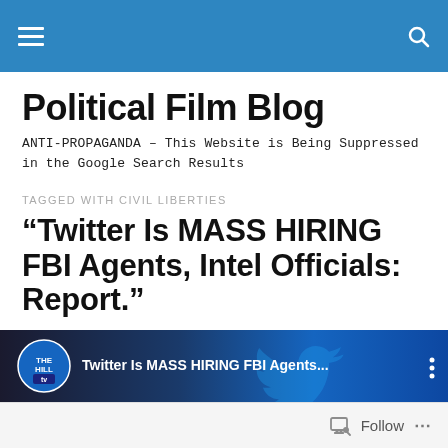Navigation bar with hamburger menu and search icon
Political Film Blog
ANTI-PROPAGANDA – This Website is Being Suppressed in the Google Search Results
TAGGED WITH CIVIL LIBERTIES
“Twitter Is MASS HIRING FBI Agents, Intel Officials: Report.”
[Figure (screenshot): Video thumbnail from The Hill TV showing text 'Twitter Is MASS HIRING FBI Agents...' with three-dot menu icon, overlaid on dark background with Twitter logo and FBI imagery]
Follow   ...